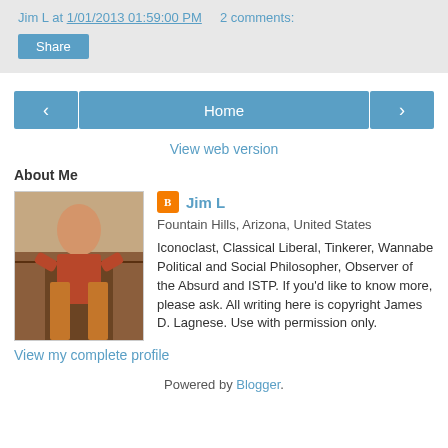Jim L at 1/01/2013 01:59:00 PM   2 comments:
Share
< Home >
View web version
About Me
[Figure (photo): Profile photo of Jim L wearing a plaid kilt in a classroom/office setting]
Jim L
Fountain Hills, Arizona, United States
Iconoclast, Classical Liberal, Tinkerer, Wannabe Political and Social Philosopher, Observer of the Absurd and ISTP. If you'd like to know more, please ask. All writing here is copyright James D. Lagnese. Use with permission only.
View my complete profile
Powered by Blogger.